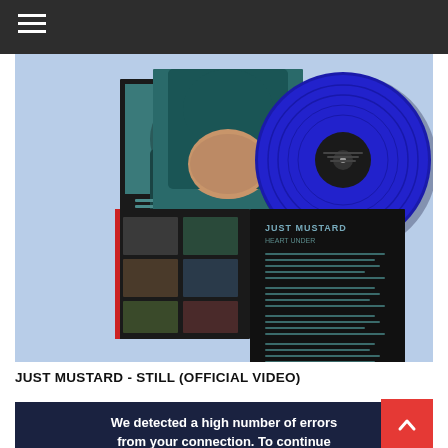Navigation menu
[Figure (photo): Music album product photo showing vinyl record packaging for Just Mustard. A blue vinyl record is visible on the right side, alongside album packaging/booklets showing a teal/green hooded figure cover image and a gatefold booklet with band photos.]
JUST MUSTARD - STILL (OFFICIAL VIDEO)
[Figure (screenshot): Video embed area with dark navy background showing a CAPTCHA/error message: We detected a high number of errors from your connection. To continue...]
We detected a high number of errors from your connection. To continue